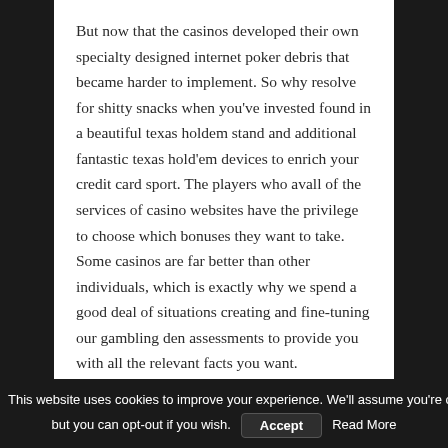But now that the casinos developed their own specialty designed internet poker debris that became harder to implement. So why resolve for shitty snacks when you've invested found in a beautiful texas holdem stand and additional fantastic texas hold'em devices to enrich your credit card sport. The players who avall of the services of casino websites have the privilege to choose which bonuses they want to take. Some casinos are far better than other individuals, which is exactly why we spend a good deal of situations creating and fine-tuning our gambling den assessments to provide you with all the relevant facts you want.
This website uses cookies to improve your experience. We'll assume you're ok with this, but you can opt-out if you wish. Accept Read More